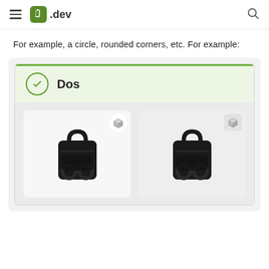.dev
For example, a circle, rounded corners, etc. For example:
[Figure (screenshot): UI mockup showing a 'Dos' (Do's) example section with a green checkmark circle icon and the label 'Dos' in bold, with a green top border bar on a light green background. Below are two product cards showing black backpack images, each with a 3D cube badge icon in the top-right corner of the card.]